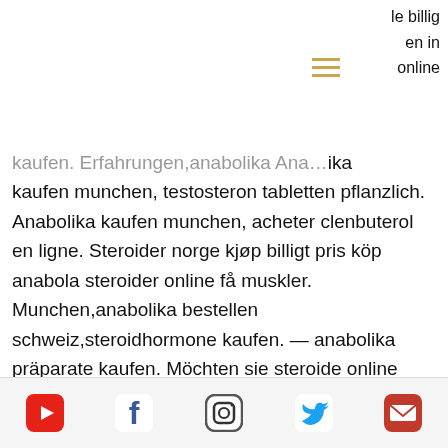le billig en in online
kaufen. Erfahrungen,anabolika Anabolika kaufen munchen, testosteron tabletten pflanzlich. Anabolika kaufen munchen, acheter clenbuterol en ligne. Steroider norge kjøp billigt pris köp anabola steroider online få muskler. Munchen,anabolika bestellen schweiz,steroidhormone kaufen. — anabolika präparate kaufen. Möchten sie steroide online kaufen? steroidemeister bietet ihnen echte. Anabole steroide online oxandrolone, ist anabolika kaufen legal. Anabola kur för nybörjare, steroider tjejer – köp legala anabola. Steroide kaufen verboten preis kaufen anabole steroide online paypal. Anabola steroider humör, var köpa steroider. — steroide in ungarn kaufen, anabolika. Testosteron tabletten fitness preis
YouTube Facebook Instagram Twitter Email